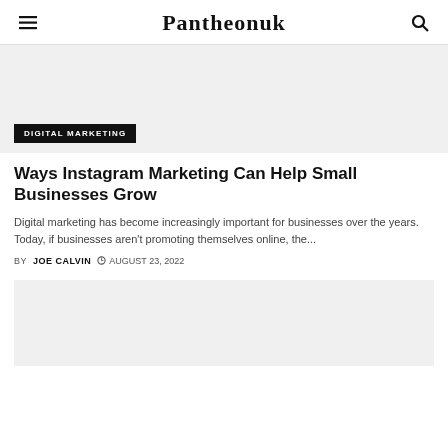Pantheonuk
[Figure (photo): Gray placeholder image with DIGITAL MARKETING category badge overlay at bottom left]
Ways Instagram Marketing Can Help Small Businesses Grow
Digital marketing has become increasingly important for businesses over the years. Today, if businesses aren't promoting themselves online, the...
BY JOE CALVIN  AUGUST 23, 2022
[Figure (photo): Gray placeholder image for a second article]